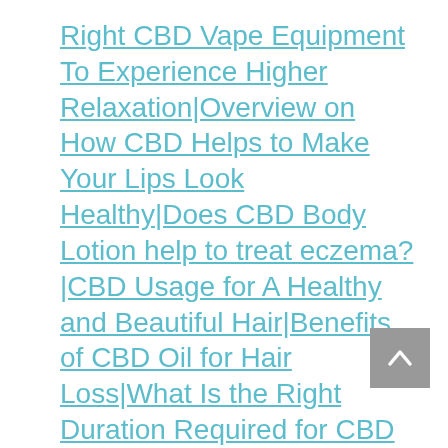Right CBD Vape Equipment To Experience Higher Relaxation|Overview on How CBD Helps to Make Your Lips Look Healthy|Does CBD Body Lotion help to treat eczema?|CBD Usage for A Healthy and Beautiful Hair|Benefits of CBD Oil for Hair Loss|What Is the Right Duration Required for CBD To Show the Effect?|CBD Tinctures – Extraction Process, Dosage and Other Information|Is It The Right Idea To Go With CBD Oil Supplement For Pets – Know Here|All You Need to Know About CBD Vape Juice|Mind Relaxing And Safe To Use CBD Gummies|How To Determine What CBD Tincture Strength To Use|Always Buy A Legitimate CBD Product To Attain Best Result|Utilizing the